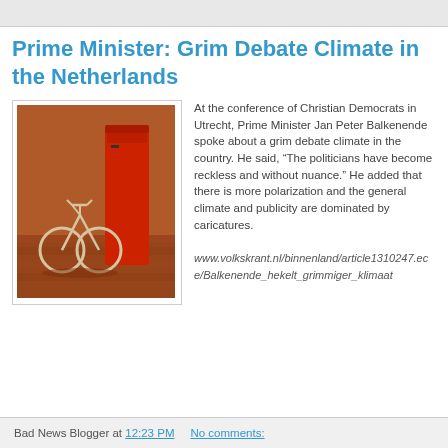Prime Minister: Grim Debate Climate in the Netherlands
[Figure (photo): A bicycle parked next to a red pillar box/post box on a brick street]
At the conference of Christian Democrats in Utrecht, Prime Minister Jan Peter Balkenende spoke about a grim debate climate in the country. He said, “The politicians have become reckless and without nuance.” He added that there is more polarization and the general climate and publicity are dominated by caricatures. www.volkskrant.nl/binnenland/article1310247.ece/Balkenende_hekelt_grimmiger_klimaat
Bad News Blogger at 12:23 PM   No comments: